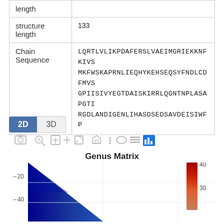| structure length | 133 |
| Chain Sequence | LQRTLVLIKPDAFERSLVAEIMGRIEKKNFKIVS MKFWSKAPRNLIEQHYKEHSEQSYFNDLCDFMVS GPIISIVYEGTDAISKIRRLQGNTNPLASAPGTI RGDLANDIGENLIHASDSEDSAVDEISIWFP |
[Figure (screenshot): 2D/3D toggle buttons and chart toolbar with icons]
[Figure (other): Genus Matrix heatmap showing a triangular blue-to-red gradient matrix with colorbar showing scale 30-40, y-axis labels 20 and 40]